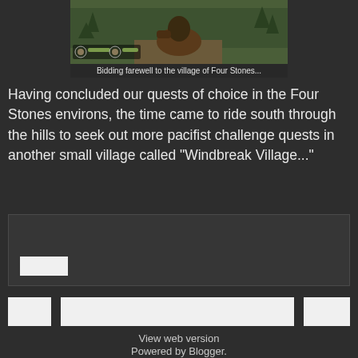[Figure (screenshot): Game screenshot showing a rider on horseback viewed from behind, riding through a green hilly landscape with trees. A HUD with icons is visible at the lower left of the screenshot.]
Bidding farewell to the village of Four Stones...
Having concluded our quests of choice in the Four Stones environs, the time came to ride south through the hills to seek out more pacifist challenge quests in another small village called "Windbreak Village..."
[Figure (screenshot): Comment input box area with a white button at the bottom left]
[Figure (screenshot): Bottom UI row with three white buttons]
View web version
Powered by Blogger.